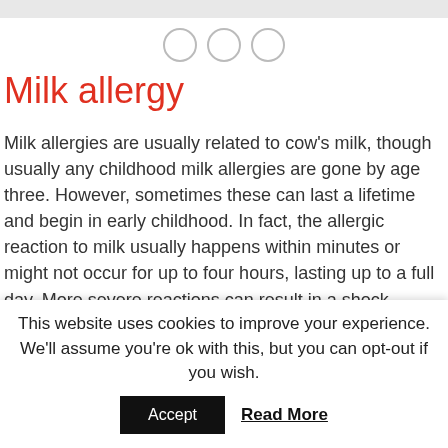[Figure (other): Three circles in a row (navigation dots)]
Milk allergy
Milk allergies are usually related to cow's milk, though usually any childhood milk allergies are gone by age three. However, sometimes these can last a lifetime and begin in early childhood. In fact, the allergic reaction to milk usually happens within minutes or might not occur for up to four hours, lasting up to a full day. More severe reactions can result in a shock reaction which requires emergency care. Regardless of the reaction time, a milk allergy does not necessarily have to be as a result of drinking milk as it can come from any type of milk
This website uses cookies to improve your experience. We'll assume you're ok with this, but you can opt-out if you wish.
Accept   Read More